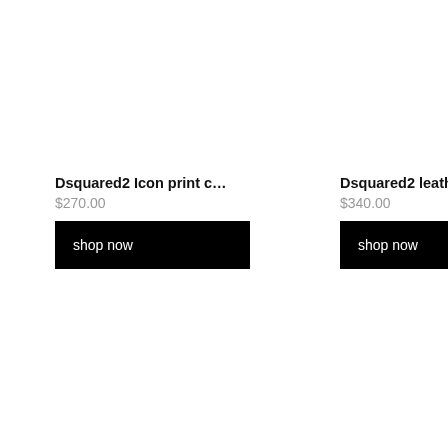Dsquared2 Icon print c…
$270.00
shop now
Dsquared2 leather bifo…
$340.00
shop now